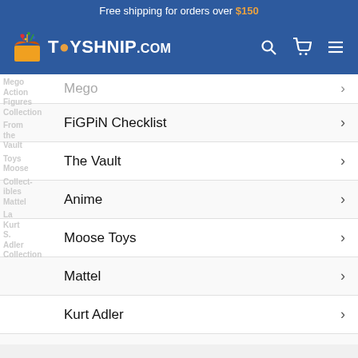Free shipping for orders over $150
[Figure (logo): TOYSHNIP.com logo with colorful toy box icon]
FiGPiN Checklist
The Vault
Anime
Moose Toys
Mattel
Kurt Adler
Zen Monkey Collections